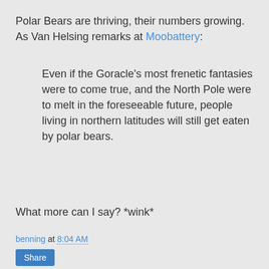Polar Bears are thriving, their numbers growing. As Van Helsing remarks at Moobattery:
Even if the Goracle's most frenetic fantasies were to come true, and the North Pole were to melt in the foreseeable future, people living in northern latitudes will still get eaten by polar bears.
What more can I say? *wink*
benning at 8:04 AM
Share
14 comments: